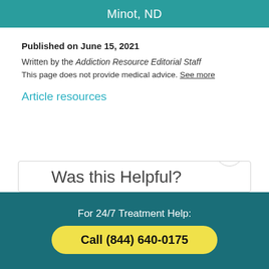Minot, ND
Published on June 15, 2021
Written by the Addiction Resource Editorial Staff
This page does not provide medical advice. See more
Article resources
Was this Helpful?
For 24/7 Treatment Help:
Call (844) 640-0175